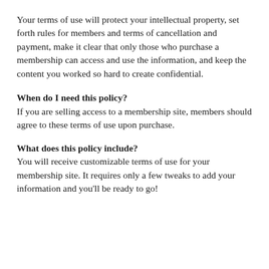Your terms of use will protect your intellectual property, set forth rules for members and terms of cancellation and payment, make it clear that only those who purchase a membership can access and use the information, and keep the content you worked so hard to create confidential.
When do I need this policy?
If you are selling access to a membership site, members should agree to these terms of use upon purchase.
What does this policy include?
You will receive customizable terms of use for your membership site. It requires only a few tweaks to add your information and you'll be ready to go!